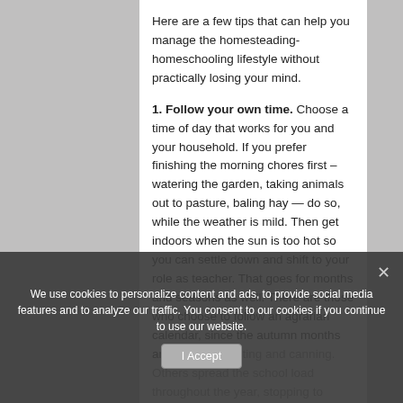Here are a few tips that can help you manage the homesteading-homeschooling lifestyle without practically losing your mind.
1. Follow your own time. Choose a time of day that works for you and your household. If you prefer finishing the morning chores first – watering the garden, taking animals out to pasture, baling hay — do so, while the weather is mild. Then get indoors when the sun is too hot so you can settle down and shift to your role as teacher. That goes for months and seasons as well. There are those who choose to follow an agrarian calendar, since the autumn months are spent harvesting and canning. Others spread the school load throughout the year, stopping to enjoy one- to two-week breaks on different months only as needed.
2. Integrate homesteading into
We use cookies to personalize content and ads, to provide social media features and to analyze our traffic. You consent to our cookies if you continue to use our website.